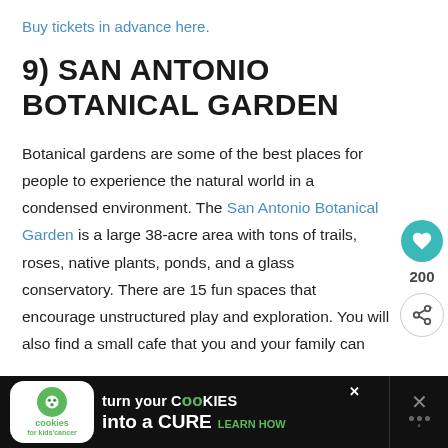Buy tickets in advance here.
9) SAN ANTONIO BOTANICAL GARDEN
Botanical gardens are some of the best places for people to experience the natural world in a condensed environment. The San Antonio Botanical Garden is a large 38-acre area with tons of trails, roses, native plants, ponds, and a glass conservatory. There are 15 fun spaces that encourage unstructured play and exploration. You will also find a small cafe that you and your family can
[Figure (other): Advertisement banner: cookies for kids cancer - turn your cookies into a cure learn how]